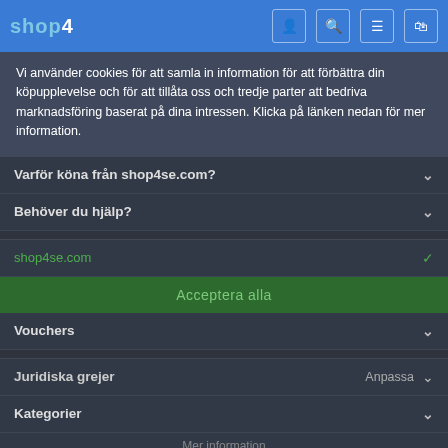[Figure (screenshot): shop4 logo in white and blue on navigation bar]
Vi använder cookies för att samla in information för att förbättra din köpupplevelse och för att tillåta oss och tredje parter att bedriva marknadsföring baserat på dina intressen. Klicka på länken nedan för mer information.
Varför köna från shop4se.com?
Behöver du hjälp?
shop4se.com
Acceptera alla
Vouchers
Juridiska grejer        Anpassa
Kategorier
Mer information
Populärt just nu
Denna webbplats är skyddad av reCAPTCHA
Google Integritetspolicy och Användarvillkor gäller.
© shop4se.com 2022 • Unit 1, Maison Court, Barlborough, Chesterfield, S43 4GD, United Kingdom